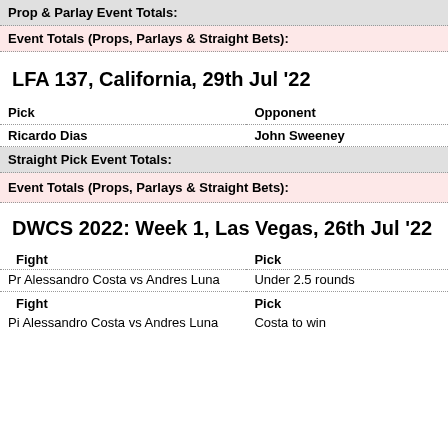Prop & Parlay Event Totals:
Event Totals (Props, Parlays & Straight Bets):
LFA 137, California, 29th Jul '22
| Pick | Opponent |
| --- | --- |
| Ricardo Dias | John Sweeney |
Straight Pick Event Totals:
Event Totals (Props, Parlays & Straight Bets):
DWCS 2022: Week 1, Las Vegas, 26th Jul '22
| Fight | Pick |
| --- | --- |
| Pr Alessandro Costa vs Andres Luna | Under 2.5 rounds |
| Pi Alessandro Costa vs Andres Luna | Costa to win |